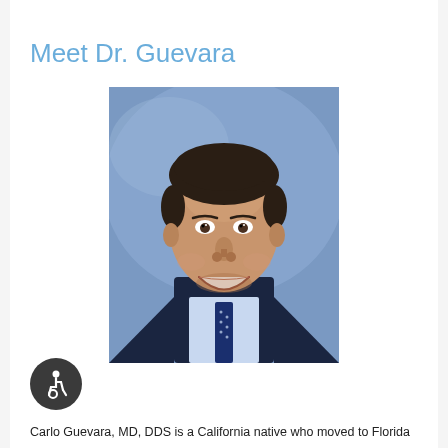Meet Dr. Guevara
[Figure (photo): Professional headshot of Dr. Carlo Guevara in a dark suit and tie, smiling, with a blue background]
Carlo Guevara, MD, DDS is a California native who moved to Florida